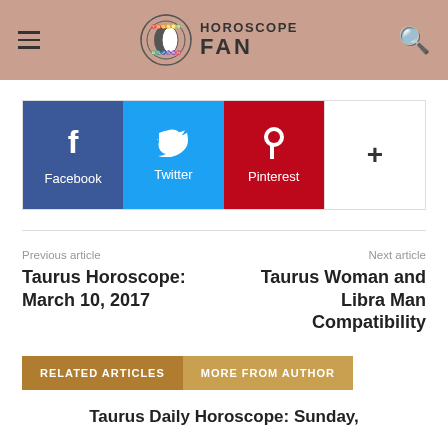HOROSCOPE FAN
[Figure (infographic): Social share buttons: Facebook (blue), Twitter (cyan), Pinterest (red), and a + more button (white)]
Previous article
Taurus Horoscope: March 10, 2017
Next article
Taurus Woman and Libra Man Compatibility
RELATED ARTICLES   MORE FROM AUTHOR
Taurus Daily Horoscope: Sunday,